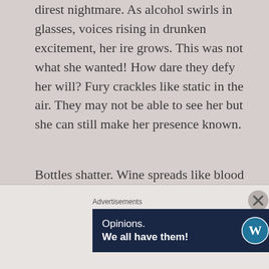direst nightmare. As alcohol swirls in glasses, voices rising in drunken excitement, her ire grows. This was not what she wanted! How dare they defy her will? Fury crackles like static in the air. They may not be able to see her but she can still make her presence known.
Bottles shatter. Wine spreads like blood across the floor.
[Figure (photo): Black and white photograph of a Victorian-style house roofline showing multiple dormer gables, chimneys, and shingle siding against a bright sky.]
Advertisements
[Figure (other): WordPress advertisement banner with dark navy background. Text reads 'Opinions. We all have them!' with WordPress logo and Daily Post circular logo on the right.]